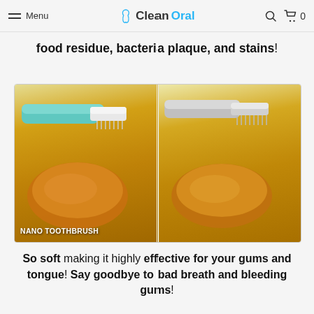Menu | CleanOral | 🔍 | 🛒 0
food residue, bacteria plaque, and stains!
[Figure (photo): Side-by-side comparison of two toothbrushes on an orange blob substance. Left side shows a teal nano toothbrush labeled 'NANO TOOTHBRUSH', right side shows a regular grey toothbrush.]
So soft making it highly effective for your gums and tongue! Say goodbye to bad breath and bleeding gums!